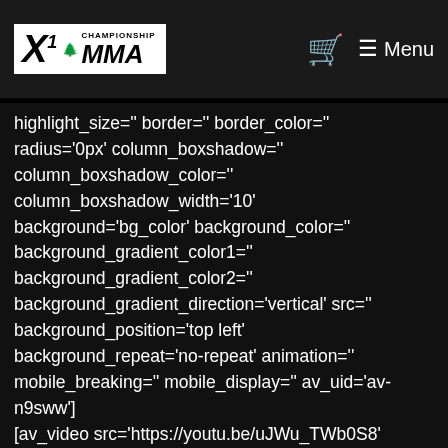X1 Championship MMA — Menu
highlight_size='' border='' border_color='' radius='0px' column_boxshadow='' column_boxshadow_color='' column_boxshadow_width='10' background='bg_color' background_color='' background_gradient_color1='' background_gradient_color2='' background_gradient_direction='vertical' src='' background_position='top left' background_repeat='no-repeat' animation='' mobile_breaking='' mobile_display='' av_uid='av-n9sww'] [av_video src='https://youtu.be/uJWu_TWb0S8' mobile_image='' attachment='' attachment_size='' format='16-9' width='16' height='9' conditional_play='' av_uid='av-iq5e1qrc']